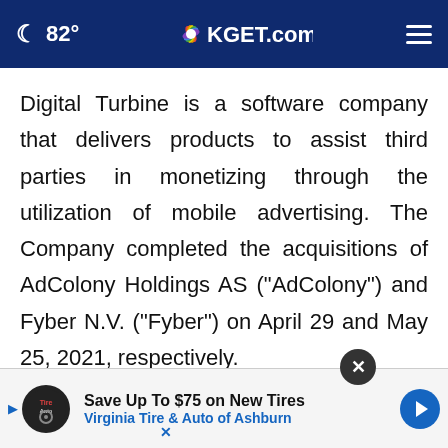82° KGET.com
Digital Turbine is a software company that delivers products to assist third parties in monetizing through the utilization of mobile advertising. The Company completed the acquisitions of AdColony Holdings AS (“AdColony”) and Fyber N.V. (“Fyber”) on April 29 and May 25, 2021, respectively.
On May 17, 2022, Digital Turbine issued a press relea… …ncial state… …June
[Figure (screenshot): Advertisement banner: Save Up To $75 on New Tires - Virginia Tire & Auto of Ashburn, with Tire Auto logo and blue arrow icon. Close button (X) visible above the ad.]